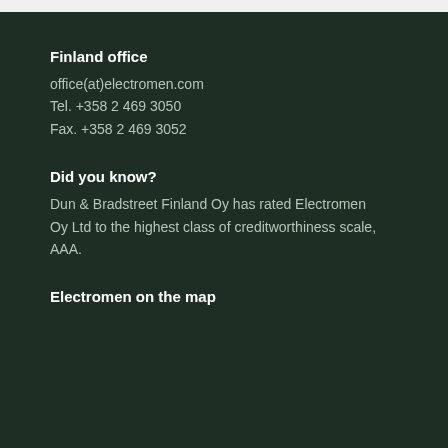Finland office
office(at)electromen.com
Tel. +358 2 469 3050
Fax. +358 2 469 3052
Did you know?
Dun & Bradstreet Finland Oy has rated Electromen Oy Ltd to the highest class of creditworthiness scale, AAA.
Electromen on the map